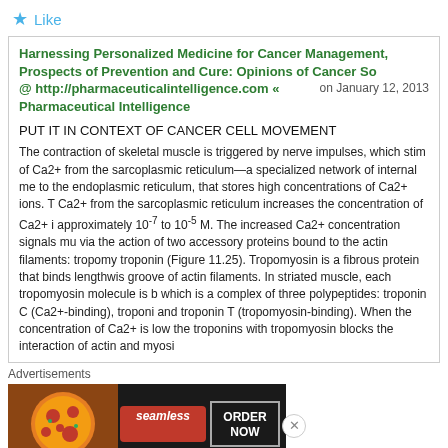★ Like
Harnessing Personalized Medicine for Cancer Management, Prospects of Prevention and Cure: Opinions of Cancer Sc @ http://pharmaceuticalintelligence.com « Pharmaceutical Intelligence on January 12, 2013
PUT IT IN CONTEXT OF CANCER CELL MOVEMENT
The contraction of skeletal muscle is triggered by nerve impulses, which stim of Ca2+ from the sarcoplasmic reticulum—a specialized network of internal me to the endoplasmic reticulum, that stores high concentrations of Ca2+ ions. T Ca2+ from the sarcoplasmic reticulum increases the concentration of Ca2+ i approximately 10-7 to 10-5 M. The increased Ca2+ concentration signals mu via the action of two accessory proteins bound to the actin filaments: tropomy troponin (Figure 11.25). Tropomyosin is a fibrous protein that binds lengthwis groove of actin filaments. In striated muscle, each tropomyosin molecule is b which is a complex of three polypeptides: troponin C (Ca2+-binding), troponi and troponin T (tropomyosin-binding). When the concentration of Ca2+ is low the troponins with tropomyosin blocks the interaction of actin and myosi
Advertisements
[Figure (photo): Seamless food delivery advertisement banner with pizza image, Seamless logo, and ORDER NOW button]